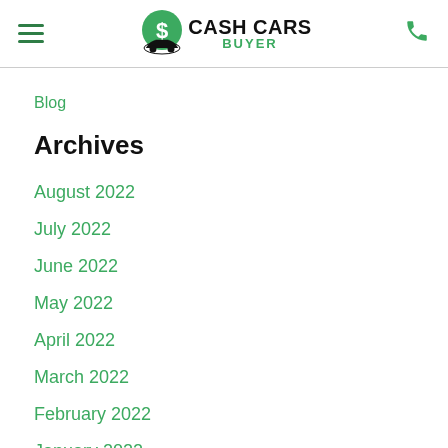Cash Cars Buyer — Navigation header with hamburger menu and phone icon
Blog
Archives
August 2022
July 2022
June 2022
May 2022
April 2022
March 2022
February 2022
January 2022